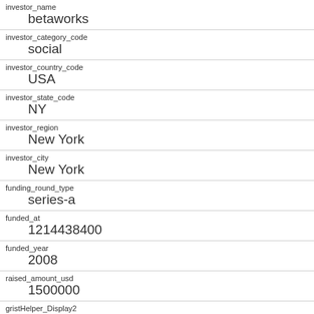| field | value |
| --- | --- |
| investor_name | betaworks |
| investor_category_code | social |
| investor_country_code | USA |
| investor_state_code | NY |
| investor_region | New York |
| investor_city | New York |
| funding_round_type | series-a |
| funded_at | 1214438400 |
| funded_year | 2008 |
| raised_amount_usd | 1500000 |
| gristHelper_Display2 |  |